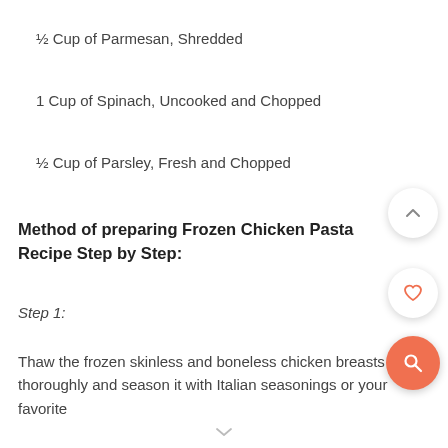½ Cup of Parmesan, Shredded
1 Cup of Spinach, Uncooked and Chopped
½ Cup of Parsley, Fresh and Chopped
Method of preparing Frozen Chicken Pasta Recipe Step by Step:
Step 1:
Thaw the frozen skinless and boneless chicken breasts thoroughly and season it with Italian seasonings or your favorite